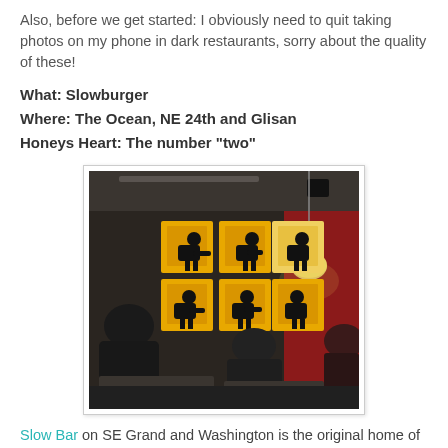Also, before we get started: I obviously need to quit taking photos on my phone in dark restaurants, sorry about the quality of these!
What: Slowburger
Where: The Ocean, NE 24th and Glisan
Honeys Heart: The number "two"
[Figure (photo): Dark interior photo of a restaurant/bar showing people seated, with six yellow-background pop-art style paintings on the wall, a red accent wall, and a hanging pendant light.]
Slow Bar on SE Grand and Washington is the original home of the "Slowburger." This funky, skatery, divey, but also awesome little corner bar features a to-die-for burger that I